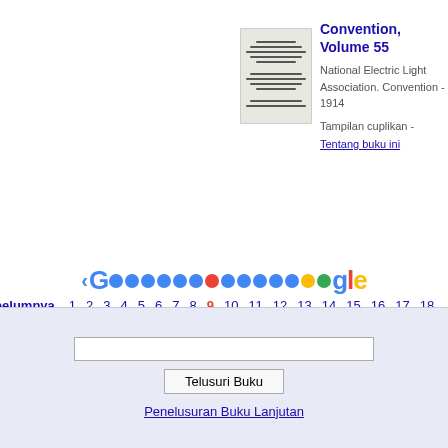[Figure (illustration): Small thumbnail of book cover for Convention Volume 55]
Convention, Volume 55
National Electric Light Association. Convention - 1914
Tampilan cuplikan - Tentang buku ini
[Figure (other): Google pagination bar with colored circles and page numbers 1-18, with Sebelumnya (Previous) and Berikutnya (Next) links. Page 9 is highlighted in red.]
Sebelumnya  1 2 3 4 5 6 7 8 9 10 11 12 13 14 15 16 17 18  Ber
Telusuri Buku
Penelusuran Buku Lanjutan